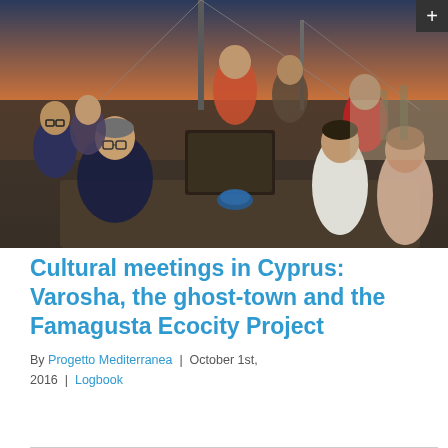[Figure (photo): Group of people sitting on the deck of a sailboat at dusk/sunset, engaged in conversation. Several people visible including a man in navy blue in the foreground, a man in white shirt and woman in the right foreground, and others in the background on the boat.]
Cultural meetings in Cyprus: Varosha, the ghost-town and the Famagusta Ecocity Project
By Progetto Mediterranea | October 1st, 2016 | Logbook